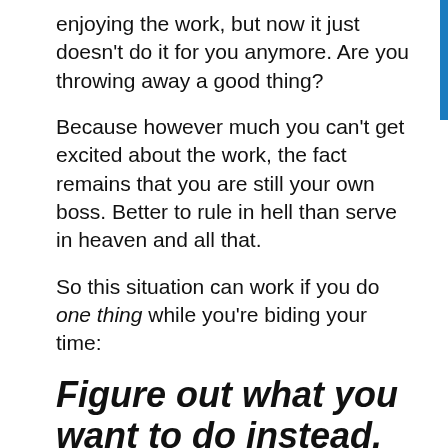enjoying the work, but now it just doesn't do it for you anymore. Are you throwing away a good thing?
Because however much you can't get excited about the work, the fact remains that you are still your own boss. Better to rule in hell than serve in heaven and all that.
So this situation can work if you do one thing while you're biding your time:
Figure out what you want to do instead.
The golden handcuffs AREN'T a failure if you're using them to enable Future You. At that point, you no longer have a Maslow